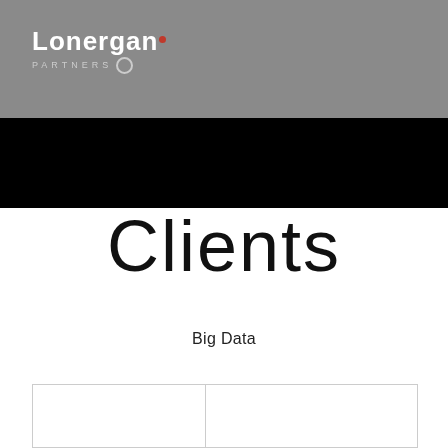Lonergan Partners
Clients
Big Data